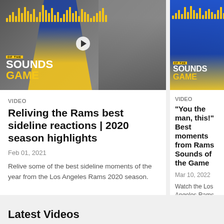[Figure (photo): Video thumbnail showing Los Angeles Rams player #43 in blue and yellow uniform with 'Sounds of the Game' overlay, and a camera operator in background]
VIDEO
Reliving the Rams best sideline reactions | 2020 season highlights
Feb 01, 2021
Relive some of the best sideline moments of the year from the Los Angeles Rams 2020 season.
[Figure (photo): Partially visible video thumbnail showing 'Sounds of the Game' overlay with crowd in blue Rams jerseys]
VIDEO
"You the man, this!" Best moments from Rams Sounds of the Game
Mar 10, 2022
Watch the Los Angeles Rams best moments from...
Latest Videos